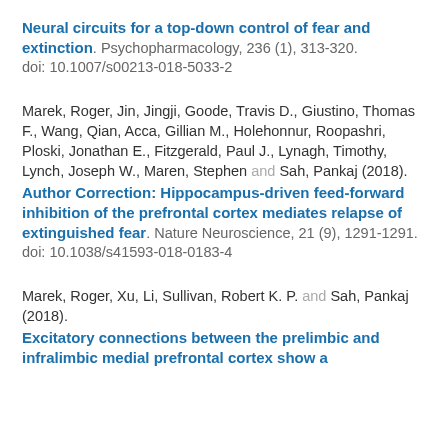Neural circuits for a top-down control of fear and extinction. Psychopharmacology, 236 (1), 313-320. doi: 10.1007/s00213-018-5033-2
Marek, Roger, Jin, Jingji, Goode, Travis D., Giustino, Thomas F., Wang, Qian, Acca, Gillian M., Holehonnur, Roopashri, Ploski, Jonathan E., Fitzgerald, Paul J., Lynagh, Timothy, Lynch, Joseph W., Maren, Stephen and Sah, Pankaj (2018). Author Correction: Hippocampus-driven feed-forward inhibition of the prefrontal cortex mediates relapse of extinguished fear. Nature Neuroscience, 21 (9), 1291-1291. doi: 10.1038/s41593-018-0183-4
Marek, Roger, Xu, Li, Sullivan, Robert K. P. and Sah, Pankaj (2018). Excitatory connections between the prelimbic and infralimbic medial prefrontal cortex show a